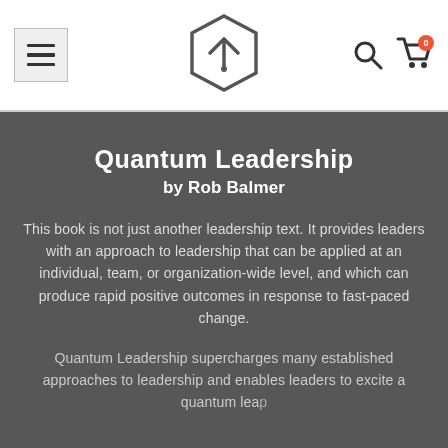Navigation header with menu button, hexagonal logo, search icon, and cart icon (0 items)
Quantum Leadership
by Rob Balmer
This book is not just another leadership text. It provides leaders with an approach to leadership that can be applied at an individual, team, or organization-wide level, and which can produce rapid positive outcomes in response to fast-paced change.
Quantum Leadership supercharges many established approaches to leadership and enables leaders to excite a quantum leap...